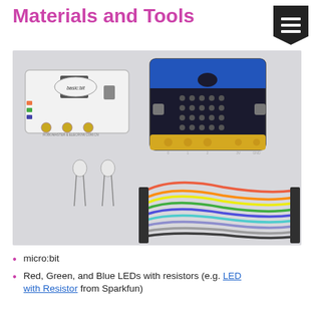Materials and Tools
[Figure (photo): Photo showing electronics components: a basic:bit board, a BBC micro:bit board, two LEDs with leads, and a bundle of colorful jumper wires with connectors on both ends.]
micro:bit
Red, Green, and Blue LEDs with resistors (e.g. LED with Resistor from Sparkfun)